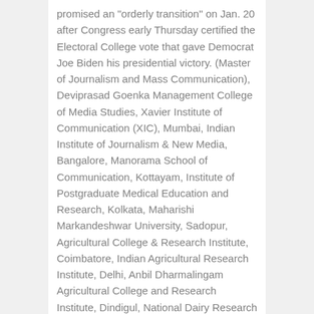promised an "orderly transition" on Jan. 20 after Congress early Thursday certified the Electoral College vote that gave Democrat Joe Biden his presidential victory. (Master of Journalism and Mass Communication), Deviprasad Goenka Management College of Media Studies, Xavier Institute of Communication (XIC), Mumbai, Indian Institute of Journalism & New Media, Bangalore, Manorama School of Communication, Kottayam, Institute of Postgraduate Medical Education and Research, Kolkata, Maharishi Markandeshwar University, Sadopur, Agricultural College & Research Institute, Coimbatore, Indian Agricultural Research Institute, Delhi, Anbil Dharmalingam Agricultural College and Research Institute, Dindigul, National Dairy Research Institute, Karnal, Central Institute of Fisheries Education (CIFE), Mumbai, Jawaharlal Nehru Krishi Vishwa Vidyalaya, Jabalpur, Vanavarayar Institute of Agriculture, Coimbatore, Anand Niketan College of Agriculture, Chandrapur, International Institute of Fashion Design, The Industrial Design Center (IDC), IIT Mumbai, Delhi Institute of Pharmaceutical Sciences and Research, Government College of Pharmacy, Bangalore, National Institute of Pharmaceutical Education and Research, Mohali, Manipal